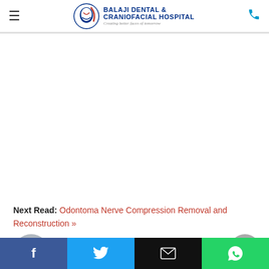Balaji Dental & Craniofacial Hospital — Creating better faces of tomorrow
[Figure (illustration): Large white/blank content area below the header, representing a scrolled web page with no visible content in the viewport]
Next Read: Odontoma Nerve Compression Removal and Reconstruction »
smbalaji:
[Figure (photo): Circular avatar photo of smbalaji, a man in a suit and tie]
[Figure (infographic): Social share bar with Facebook (blue), Twitter (cyan), Email (black), WhatsApp (green) buttons at the bottom of the page]